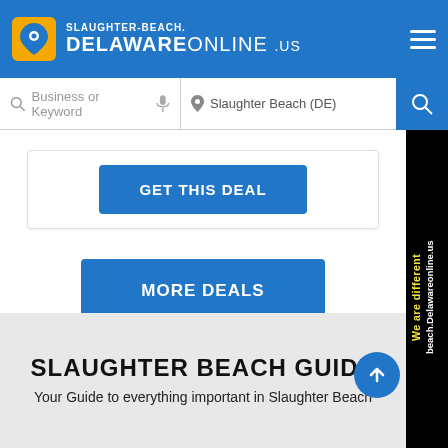SLAUGHTER-BEACH. DELAWAREONLINE .US
Business or Keyword | Slaughter Beach (DE)
GET THIS DEAL
MORE DEALS
[Figure (other): Side banner with text: We are different beach.Delawareonline.us]
SLAUGHTER BEACH GUIDE
Your Guide to everything important in Slaughter Beach